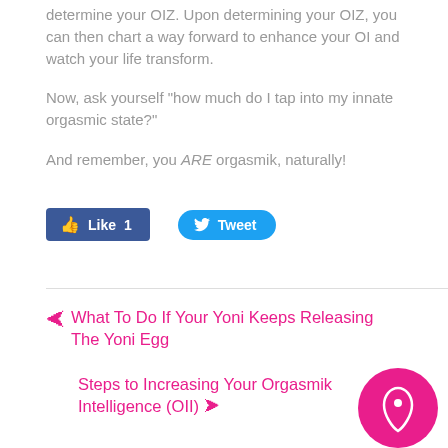determine your OIZ. Upon determining your OIZ, you can then chart a way forward to enhance your OI and watch your life transform.
Now, ask yourself "how much do I tap into my innate orgasmic state?"
And remember, you ARE orgasmik, naturally!
[Figure (other): Facebook Like button showing count of 1 and Twitter Tweet button]
What To Do If Your Yoni Keeps Releasing The Yoni Egg
Steps to Increasing Your Orgasmik Intelligence (OII)